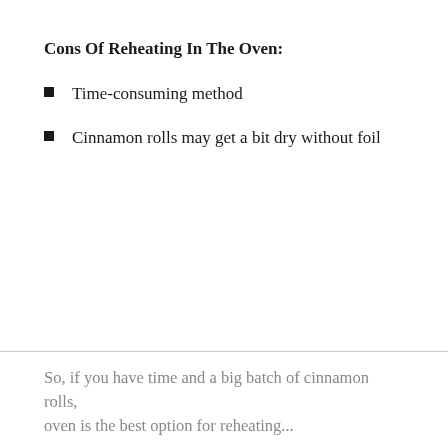Cons Of Reheating In The Oven:
Time-consuming method
Cinnamon rolls may get a bit dry without foil
So, if you have time and a big batch of cinnamon rolls, oven is the best option for reheating...